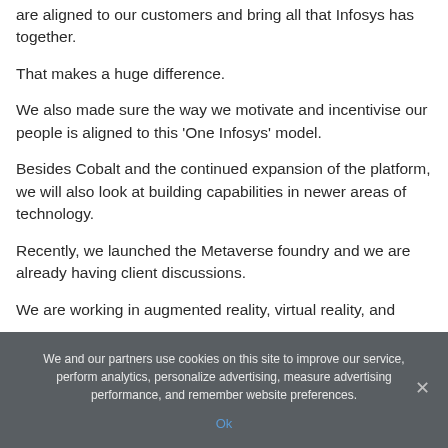are aligned to our customers and bring all that Infosys has together.
That makes a huge difference.
We also made sure the way we motivate and incentivise our people is aligned to this ‘One Infosys’ model.
Besides Cobalt and the continued expansion of the platform, we will also look at building capabilities in newer areas of technology.
Recently, we launched the Metaverse foundry and we are already having client discussions.
We are working in augmented reality, virtual reality, and
We and our partners use cookies on this site to improve our service, perform analytics, personalize advertising, measure advertising performance, and remember website preferences.

Ok